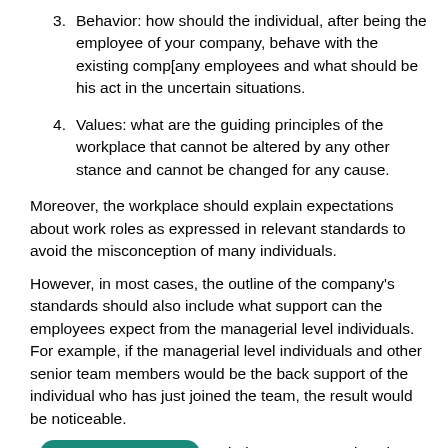3. Behavior: how should the individual, after being the employee of your company, behave with the existing comp[any employees and what should be his act in the uncertain situations.
4. Values: what are the guiding principles of the workplace that cannot be altered by any other stance and cannot be changed for any cause.
Moreover, the workplace should explain expectations about work roles as expressed in relevant standards to avoid the misconception of many individuals.
However, in most cases, the outline of the company's standards should also include what support can the employees expect from the managerial level individuals. For example, if the managerial level individuals and other senior team members would be the back support of the individual who has just joined the team, the result would be noticeable.
By having their managers and senior team members back behind them would work with more enthusiasm, and the chances for producing high-quality work